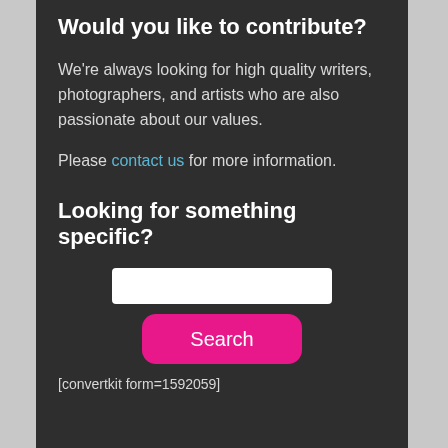Would you like to contribute?
We're always looking for high quality writers, photographers, and artists who are also passionate about our values.
Please contact us for more information.
Looking for something specific?
[Figure (other): Search input field (white rectangle) followed by a pink rounded Search button, then shortcode text '[convertkit form=1592059]']